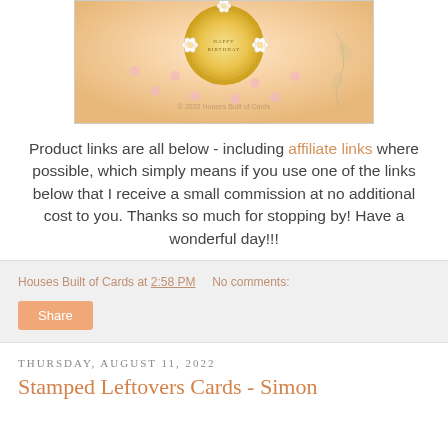[Figure (photo): Close-up photo of a decorative greeting card with gold circular embellishment, floral die cuts in white and pink, and pink dot embellishments on a light background. Watermark reads '© 2022 Houses Built of Cards'.]
Product links are all below - including affiliate links where possible, which simply means if you use one of the links below that I receive a small commission at no additional cost to you. Thanks so much for stopping by! Have a wonderful day!!!
Houses Built of Cards at 2:58 PM   No comments:
Share
Thursday, August 11, 2022
Stamped Leftovers Cards - Simon